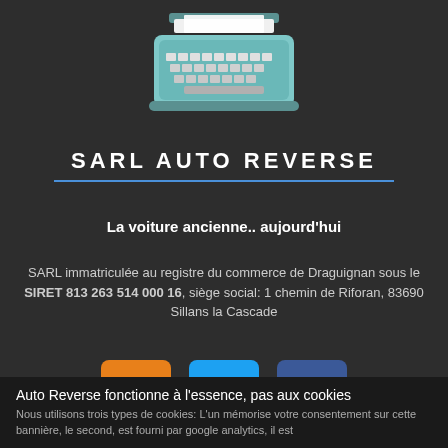[Figure (illustration): Vintage typewriter illustration in teal/mint color, viewed from above at an angle, showing keyboard and paper holder.]
SARL AUTO REVERSE
La voiture ancienne.. aujourd'hui
SARL immatriculée au registre du commerce de Draguignan sous le SIRET 813 263 514 000 16, siège social: 1 chemin de Riforan, 83690 Sillans la Cascade
[Figure (logo): Three social media icons: RSS (orange), Twitter (blue), Facebook (dark blue)]
Auto Reverse fonctionne à l'essence, pas aux cookies
Nous utilisons trois types de cookies: L'un mémorise votre consentement sur cette bannière, le second, est fourni par google analytics, il est